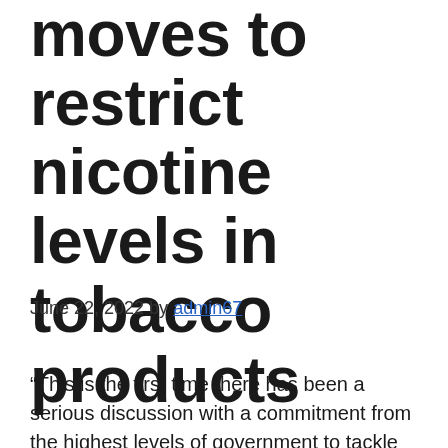moves to restrict nicotine levels in tobacco products
June 22, 2022 by admin67
“This is the first time there has been a serious discussion with a commitment from the highest levels of government to tackle tobacco in a transformative way,” said Matthew Myers, President of the Campaign for Tobacco-Free Kids. . “It will transform public health in the United States and do literally more to reduce cancer, cardiovascular disease, and respiratory